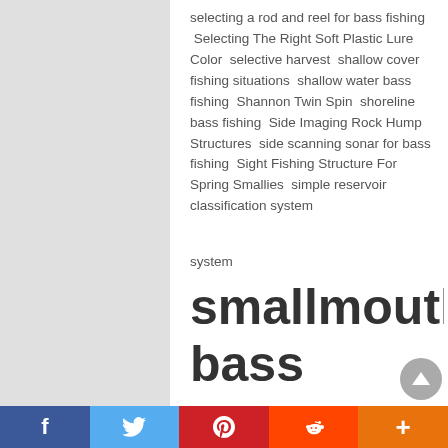selecting a rod and reel for bass fishing  Selecting The Right Soft Plastic Lure Color  selective harvest  shallow cover fishing situations  shallow water bass fishing  Shannon Twin Spin  shoreline bass fishing  Side Imaging Rock Hump Structures  side scanning sonar for bass fishing  Sight Fishing Structure For Spring Smallies  simple reservoir classification system  smallmouth bass fishing  solunar tables for bass fishing  spring bass fishing  spring bass fishing  spring bass fishing tip  spring bass fishing tips What D…
[Figure (other): Social share bar with Facebook, Twitter, Pinterest, Reddit, and More (+) buttons]